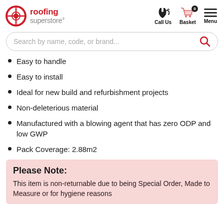roofing superstore | Call Us | Basket 0 | Menu
Easy to handle
Easy to install
Ideal for new build and refurbishment projects
Non-deleterious material
Manufactured with a blowing agent that has zero ODP and low GWP
Pack Coverage: 2.88m2
Please Note:
This item is non-returnable due to being Special Order, Made to Measure or for hygiene reasons